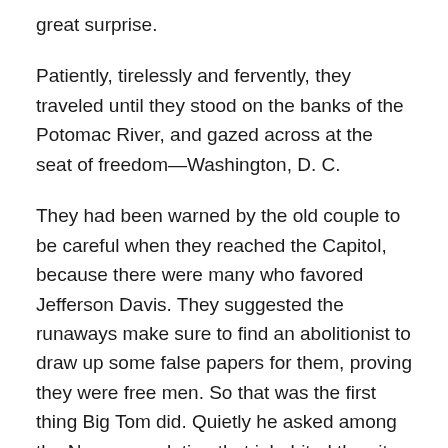great surprise.
Patiently, tirelessly and fervently, they traveled until they stood on the banks of the Potomac River, and gazed across at the seat of freedom—Washington, D. C.
They had been warned by the old couple to be careful when they reached the Capitol, because there were many who favored Jefferson Davis. They suggested the runaways make sure to find an abolitionist to draw up some false papers for them, proving they were free men. So that was the first thing Big Tom did. Quietly he asked among the Negra population that inhabited the city where to find such an individual. He was finally directed to a Quaker couple, who welcomed him and Garby into their house, and drew up the phony identifications. It was a blessing of God.